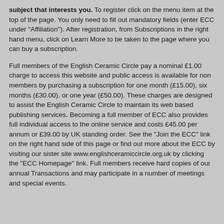subject that interests you. To register click on the menu item at the top of the page. You only need to fill out mandatory fields (enter ECC under "Affiliation"). After registration, from Subscriptions in the right hand menu, click on Learn More to be taken to the page where you can buy a subscription.
Full members of the English Ceramic Circle pay a nominal £1.00 charge to access this website and public access is available for non members by purchasing a subscription for one month (£15.00), six months (£30.00), or one year (£50.00). These charges are designed to assist the English Ceramic Circle to maintain its web based publishing services. Becoming a full member of ECC also provides full individual access to the online service and costs £45.00 per annum or £39.00 by UK standing order. See the "Join the ECC" link on the right hand side of this page or find out more about the ECC by visiting our sister site www.englishceramiccircle.org.uk by clicking the "ECC Homepage" link. Full members receive hard copies of our annual Transactions and may participate in a number of meetings and special events.